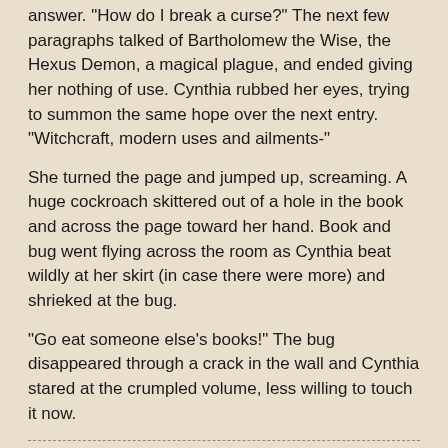answer. "How do I break a curse?" The next few paragraphs talked of Bartholomew the Wise, the Hexus Demon, a magical plague, and ended giving her nothing of use. Cynthia rubbed her eyes, trying to summon the same hope over the next entry. "Witchcraft, modern uses and ailments-"
She turned the page and jumped up, screaming. A huge cockroach skittered out of a hole in the book and across the page toward her hand. Book and bug went flying across the room as Cynthia beat wildly at her skirt (in case there were more) and shrieked at the bug.
"Go eat someone else's books!" The bug disappeared through a crack in the wall and Cynthia stared at the crumpled volume, less willing to touch it now.
Authoress at 9:03 AM
Share
14 comments: